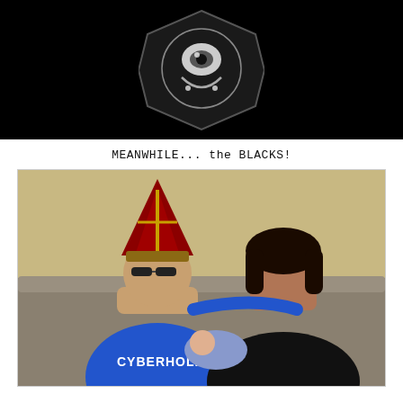[Figure (photo): Top portion shows a black background with a halftone-style circular emblem/logo in white and gray]
MEANWHILE... the BLACKS!
[Figure (photo): Photo of two adults and a baby sitting on a couch. The man on the left wears sunglasses, a blue 'CYBERHOLIC' t-shirt, and a red bishop's mitre hat. The woman on the right wears a black top and holds a infant. Background is a beige wall and patterned couch.]